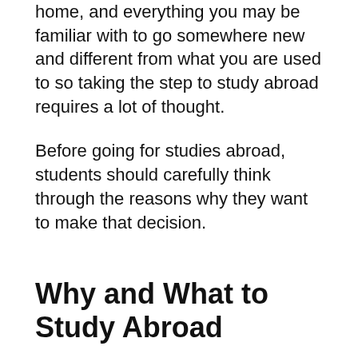home, and everything you may be familiar with to go somewhere new and different from what you are used to so taking the step to study abroad requires a lot of thought.
Before going for studies abroad, students should carefully think through the reasons why they want to make that decision.
Why and What to Study Abroad
Going abroad for studies might not